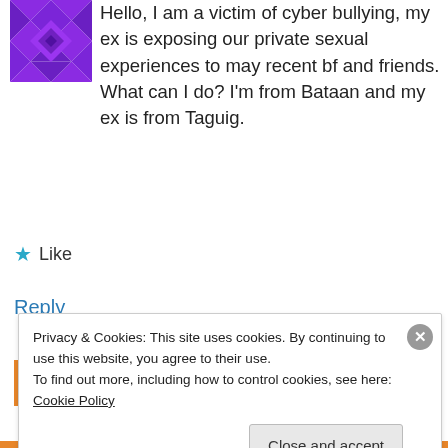[Figure (illustration): Purple geometric quilt-pattern avatar icon]
Hello, I am a victim of cyber bullying, my ex is exposing our private sexual experiences to may recent bf and friends. What can I do? I'm from Bataan and my ex is from Taguig.
★ Like
Reply
ladydimple gangan   October 4, 2011 3:22 am
Privacy & Cookies: This site uses cookies. By continuing to use this website, you agree to their use.
To find out more, including how to control cookies, see here: Cookie Policy
Close and accept